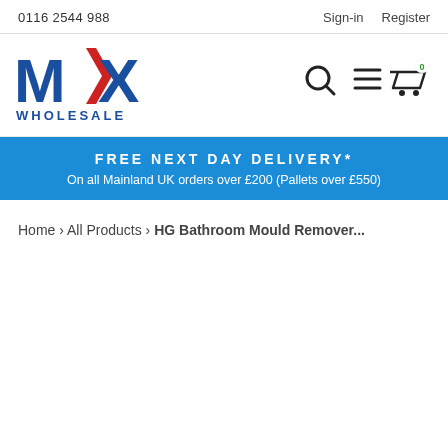0116 2544 988    Sign-in    Register
[Figure (logo): MX Wholesale logo - bold blue and red letters MX with arrow, WHOLESALE text below]
[Figure (infographic): Search icon, hamburger menu icon, and shopping cart icon with green 0 badge]
FREE NEXT DAY DELIVERY*
On all Mainland UK orders over £200 (Pallets over £550)
Home › All Products › HG Bathroom Mould Remover...